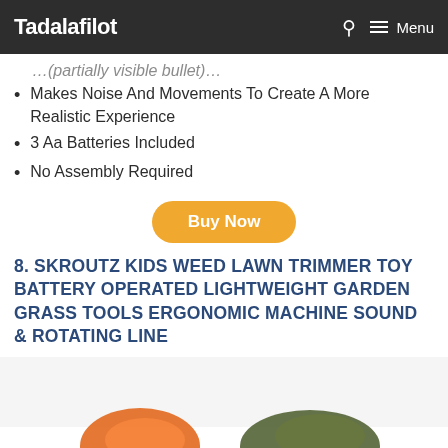Tadalafilot
Makes Noise And Movements To Create A More Realistic Experience
3 Aa Batteries Included
No Assembly Required
Buy Now
8. SKROUTZ KIDS WEED LAWN TRIMMER TOY BATTERY OPERATED LIGHTWEIGHT GARDEN GRASS TOOLS ERGONOMIC MACHINE SOUND & ROTATING LINE
[Figure (photo): Product photo of Skroutz Kids Weed Lawn Trimmer Toy, showing orange and dark green toy parts]